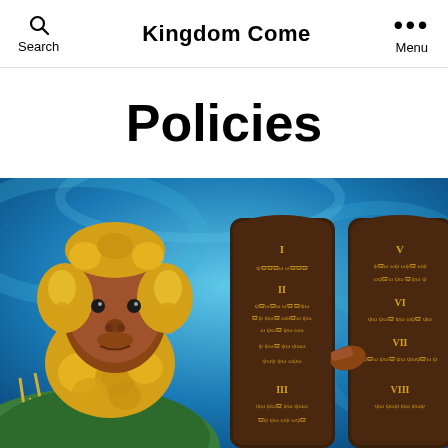Search | Kingdom Come | Menu
Policies
[Figure (illustration): Colorful painted illustration of an elderly man (Moses) with a golden beard and hair, wearing a green garment, holding two dark brown stone tablets (the Ten Commandments) with Roman numerals (I, II, III, V, VI, VII, VIII) and golden script-like text. The background is a vivid blue swirling pattern.]